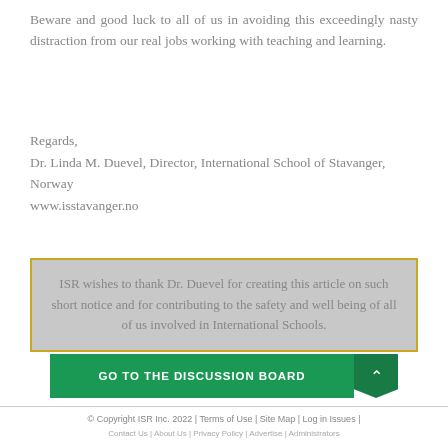Beware and good luck to all of us in avoiding this exceedingly nasty distraction from our real jobs working with teaching and learning.
Regards,
Dr. Linda M. Duevel, Director, International School of Stavanger, Norway
www.isstavanger.no
ISR wishes to thank Dr. Duevel for creating this article on such short notice and for contributing to the safety and well being of all of us involved in International Schools.
GO TO THE DISCUSSION BOARD
© Copyright ISR Inc. 2022 | Terms of Use | Site Map | Log in Issues |